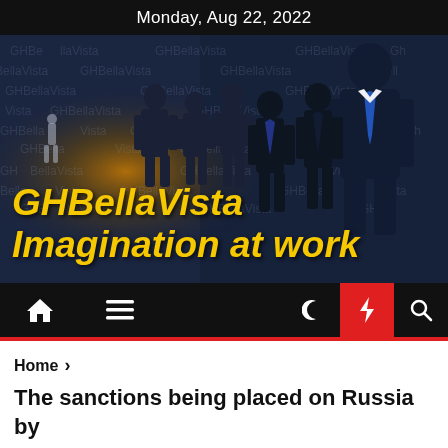Monday, Aug 22, 2022
[Figure (illustration): GHBellaVista branded hero image showing dark silhouettes of business people against a dark blue background with watermark text 'GHBellaVista' repeated across the image, with a globe and bright light on the left side, and yellow italic text overlay reading 'GHBellaVista Imagination at work']
[Figure (screenshot): Navigation bar with home icon, hamburger menu icon, moon icon, red lightning bolt icon, and search icon on a black background]
Home > The sanctions being placed on Russia by